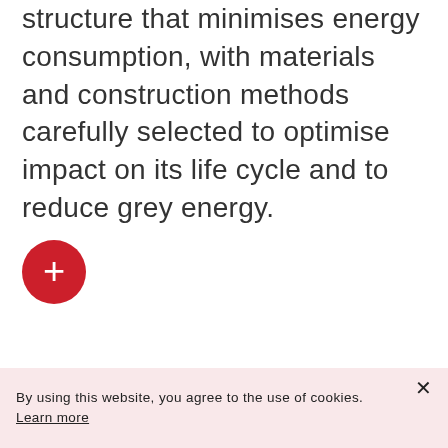structure that minimises energy consumption, with materials and construction methods carefully selected to optimise impact on its life cycle and to reduce grey energy.
[Figure (other): Red circular button with a white plus sign (+) in the center]
By using this website, you agree to the use of cookies. Learn more